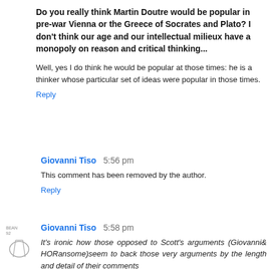Do you really think Martin Doutre would be popular in pre-war Vienna or the Greece of Socrates and Plato? I don't think our age and our intellectual milieux have a monopoly on reason and critical thinking...
Well, yes I do think he would be popular at those times: he is a thinker whose particular set of ideas were popular in those times.
Reply
Giovanni Tiso 5:56 pm
This comment has been removed by the author.
Reply
Giovanni Tiso 5:58 pm
It's ironic how those opposed to Scott's arguments (Giovanni& HORansome)seem to back those very arguments by the length and detail of their comments